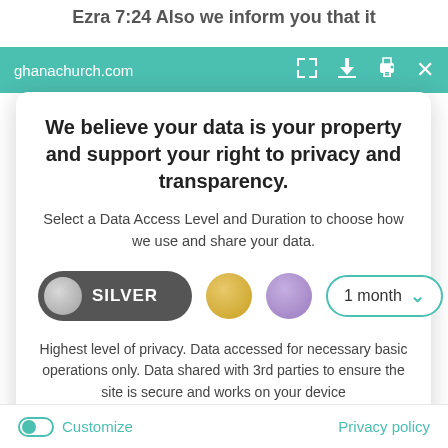Ezra 7:24 Also we inform you that it
[Figure (screenshot): Browser toolbar showing ghanachurch.com URL with teal/green background and icons for expand, download, print, and close]
We believe your data is your property and support your right to privacy and transparency.
Select a Data Access Level and Duration to choose how we use and share your data.
[Figure (infographic): Privacy consent controls: Silver tier toggle button selected (dark gray pill with silver circle), gold circle option, purple circle option, and a 1 month dropdown selector]
Highest level of privacy. Data accessed for necessary basic operations only. Data shared with 3rd parties to ensure the site is secure and works on your device
[Figure (infographic): Save my preferences button - large teal rounded button]
Customize    Privacy policy